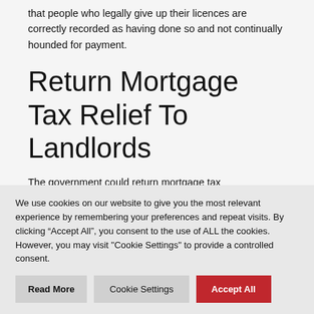that people who legally give up their licences are correctly recorded as having done so and not continually hounded for payment.
Return Mortgage Tax Relief To Landlords
The government could return mortgage tax
We use cookies on our website to give you the most relevant experience by remembering your preferences and repeat visits. By clicking “Accept All”, you consent to the use of ALL the cookies. However, you may visit "Cookie Settings" to provide a controlled consent.